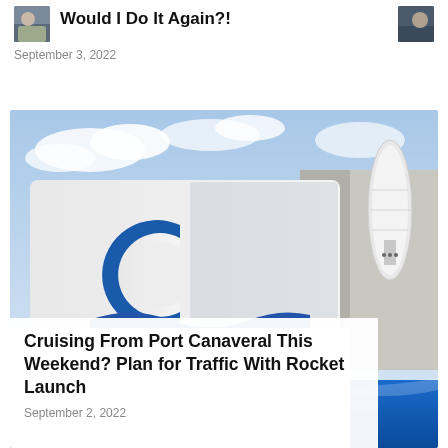Would I Do It Again?!
September 3, 2022
[Figure (photo): Port Canaveral sign with blue wave logo and rocket structure visible in background, blue sky with clouds]
Cruising From Port Canaveral This Weekend? Plan for Traffic With Rocket Launch
September 2, 2022